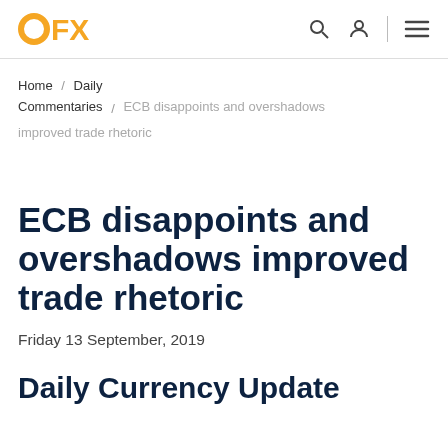OFX
Home / Daily Commentaries / ECB disappoints and overshadows improved trade rhetoric
ECB disappoints and overshadows improved trade rhetoric
Friday 13 September, 2019
Daily Currency Update